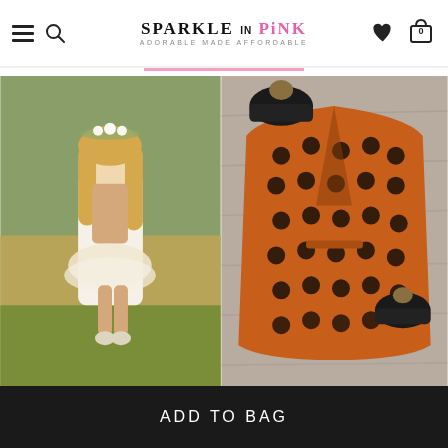SPARKLE IN PINK - ADORABLE MADE AFFORDABLE
[Figure (photo): Young blonde girl wearing a flower crown, tan spotted vest, white top, tutu skirt, and fawn-print leg warmers, standing in a grassy field]
[Figure (photo): Orange and black polka dot knit cardigan with belt, displayed flat on a wood surface alongside two black knit pom-pom beanies]
ADD TO BAG